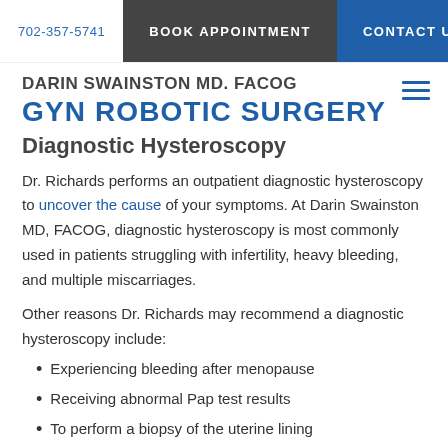702-357-5741   BOOK APPOINTMENT   CONTACT US
DARIN SWAINSTON MD. FACOG
GYN ROBOTIC SURGERY
Diagnostic Hysteroscopy
Dr. Richards performs an outpatient diagnostic hysteroscopy to uncover the cause of your symptoms. At Darin Swainston MD, FACOG, diagnostic hysteroscopy is most commonly used in patients struggling with infertility, heavy bleeding, and multiple miscarriages.
Other reasons Dr. Richards may recommend a diagnostic hysteroscopy include:
Experiencing bleeding after menopause
Receiving abnormal Pap test results
To perform a biopsy of the uterine lining